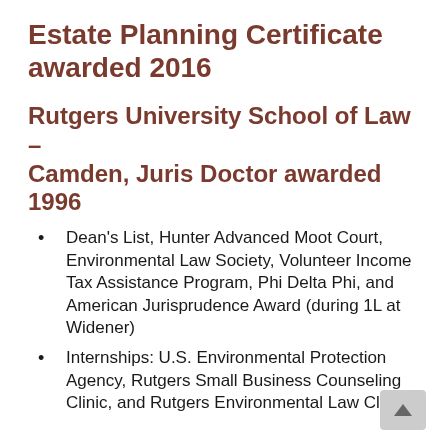Estate Planning Certificate awarded 2016
Rutgers University School of Law – Camden, Juris Doctor awarded 1996
Dean's List, Hunter Advanced Moot Court, Environmental Law Society, Volunteer Income Tax Assistance Program, Phi Delta Phi, and American Jurisprudence Award (during 1L at Widener)
Internships: U.S. Environmental Protection Agency, Rutgers Small Business Counseling Clinic, and Rutgers Environmental Law Clinic